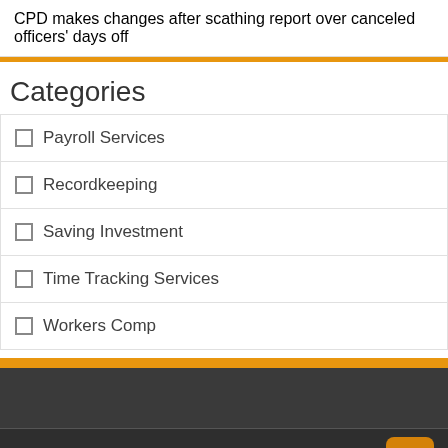CPD makes changes after scathing report over canceled officers' days off
Categories
Payroll Services
Recordkeeping
Saving Investment
Time Tracking Services
Workers Comp